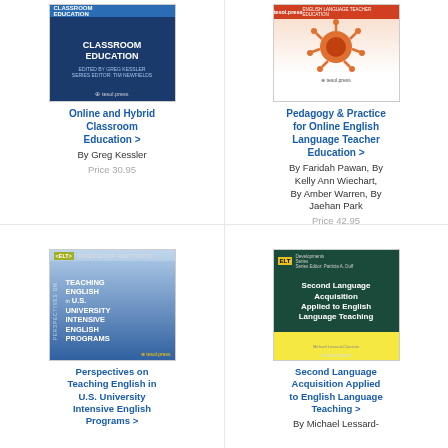[Figure (illustration): Book cover: Online and Hybrid Classroom Education, dark blue cover with white text, TESOL Press logo]
Online and Hybrid Classroom Education >
By Greg Kessler
Price 30.95
[Figure (illustration): Book cover: Pedagogy & Practice for Online English Language Teacher Education, white cover with orange virus/molecule image, red top bar]
Pedagogy & Practice for Online English Language Teacher Education >
By Faridah Pawan, By Kelly Ann Wiechart, By Amber Warren, By Jaehan Park
Price 42.95
[Figure (illustration): Book cover: Perspectives on Teaching English in U.S. University Intensive English Programs, blue gradient cover with bold white text, ELT badge]
Perspectives on Teaching English in U.S. University Intensive English Programs >
[Figure (illustration): Book cover: Second Language Acquisition Applied to English Language Teaching, dark teal cover with white text and yellow block, ELT Developments Series]
Second Language Acquisition Applied to English Language Teaching >
By Michael Lessard-